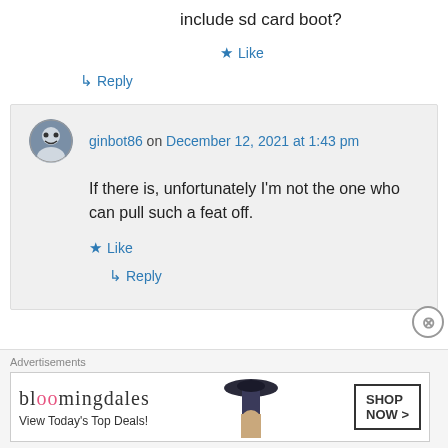include sd card boot?
★ Like
↳ Reply
ginbot86 on December 12, 2021 at 1:43 pm
If there is, unfortunately I'm not the one who can pull such a feat off.
★ Like
↳ Reply
Advertisements
[Figure (infographic): Bloomingdales advertisement banner: 'View Today's Top Deals!' with SHOP NOW button and woman in hat image]